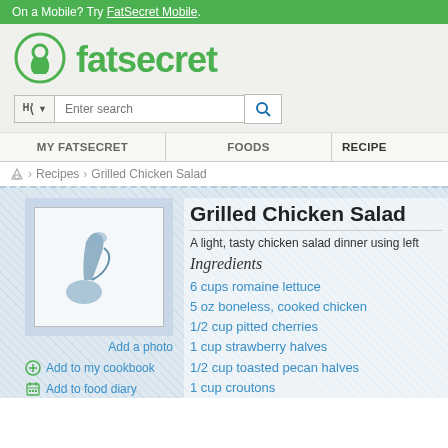On a Mobile? Try FatSecret Mobile.
[Figure (logo): FatSecret logo with keyhole icon and green text]
[Figure (screenshot): Search bar with fork/knife icon, text input, and magnifying glass button]
MY FATSECRET | FOODS | RECIPES
Recipes > Grilled Chicken Salad
Grilled Chicken Salad
A light, tasty chicken salad dinner using left
Ingredients
6 cups romaine lettuce
5 oz boneless, cooked chicken
1/2 cup pitted cherries
1 cup strawberry halves
1/2 cup toasted pecan halves
1 cup croutons